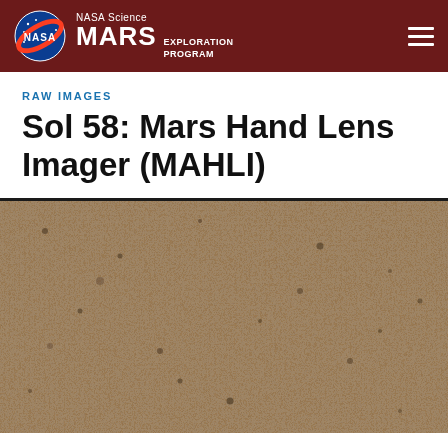NASA Science MARS EXPLORATION PROGRAM
RAW IMAGES
Sol 58: Mars Hand Lens Imager (MAHLI)
[Figure (photo): Close-up photo of Mars surface from MAHLI camera on Sol 58, showing fine-grained sandy/rocky Martian regolith in tan and brown tones with dark specks.]